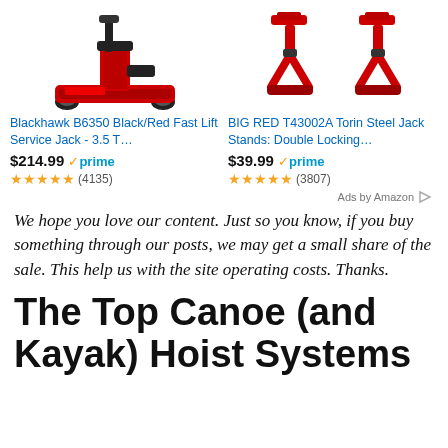[Figure (photo): Amazon ad showing two products side by side: Blackhawk B6350 Black/Red Fast Lift Service Jack (floor jack, red and black) and BIG RED T43002A Torin Steel Jack Stands (red jack stands)]
Blackhawk B6350 Black/Red Fast Lift Service Jack - 3.5 T…
$214.99 prime (4135 reviews, 5 stars)
BIG RED T43002A Torin Steel Jack Stands: Double Locking…
$39.99 prime (3807 reviews, 5 stars)
Ads by Amazon
We hope you love our content. Just so you know, if you buy something through our posts, we may get a small share of the sale. This help us with the site operating costs. Thanks.
The Top Canoe (and Kayak) Hoist Systems